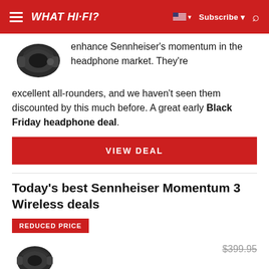WHAT HI-FI?
enhance Sennheiser's momentum in the headphone market. They're excellent all-rounders, and we haven't seen them discounted by this much before. A great early Black Friday headphone deal.
VIEW DEAL
Today's best Sennheiser Momentum 3 Wireless deals
REDUCED PRICE
$399.95